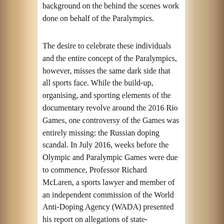background on the behind the scenes work done on behalf of the Paralympics.
The desire to celebrate these individuals and the entire concept of the Paralympics, however, misses the same dark side that all sports face. While the build-up, organising, and sporting elements of the documentary revolve around the 2016 Rio Games, one controversy of the Games was entirely missing: the Russian doping scandal. In July 2016, weeks before the Olympic and Paralympic Games were due to commence, Professor Richard McLaren, a sports lawyer and member of an independent commission of the World Anti-Doping Agency (WADA) presented his report on allegations of state-sponsored doping in Russia. The McLaren Report concluded ‘beyond a reasonable doubt’ that Russian institutions including the Ministry of Sport and the Federal Security